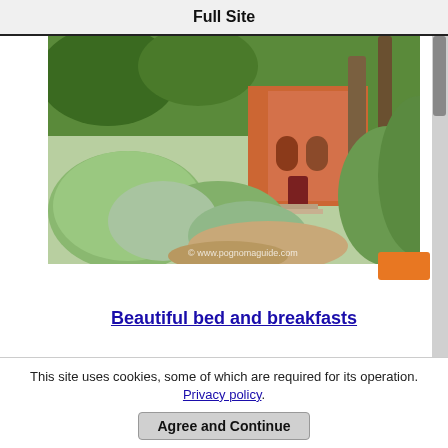Full Site
[Figure (photo): Garden path leading to a terracotta/orange Mediterranean villa with trees, green shrubs and bushes in the foreground. Watermark: © www.pognomaguide.com]
Beautiful bed and breakfasts
[Figure (photo): Landscape view with blue sky and white clouds, appears to be a coastal or hilltop view]
This site uses cookies, some of which are required for its operation. Privacy policy.
Agree and Continue